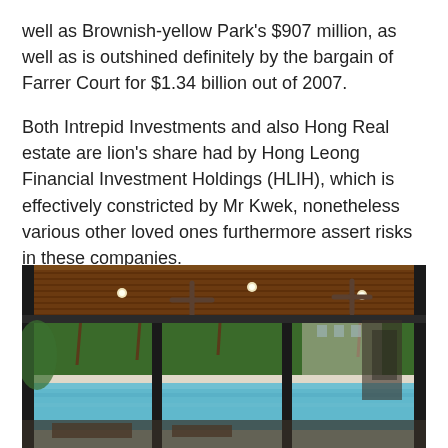well as Brownish-yellow Park's $907 million, as well as is outshined definitely by the bargain of Farrer Court for $1.34 billion out of 2007.
Both Intrepid Investments and also Hong Real estate are lion's share had by Hong Leong Financial Investment Holdings (HLIH), which is effectively constricted by Mr Kwek, nonetheless various other loved ones furthermore assert risks in these companies.
[Figure (photo): Outdoor covered pavilion or cabana area with wooden slatted ceiling, ceiling fans, black steel frame columns, overlooking a resort-style swimming pool surrounded by tropical palm trees and lush greenery.]